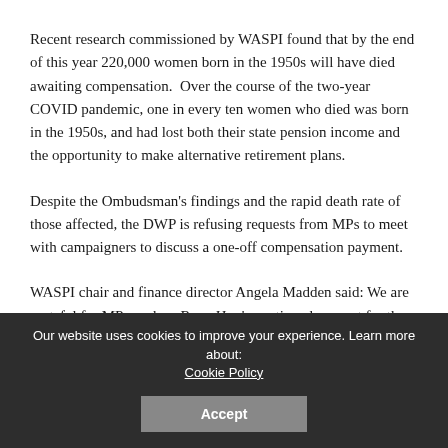Recent research commissioned by WASPI found that by the end of this year 220,000 women born in the 1950s will have died awaiting compensation.  Over the course of the two-year COVID pandemic, one in every ten women who died was born in the 1950s, and had lost both their state pension income and the opportunity to make alternative retirement plans.
Despite the Ombudsman's findings and the rapid death rate of those affected, the DWP is refusing requests from MPs to meet with campaigners to discuss a one-off compensation payment.
WASPI chair and finance director Angela Madden said: We are grateful for MPs such as Rupa Huq's continued support for the
Our website uses cookies to improve your experience. Learn more about: Cookie Policy Accept